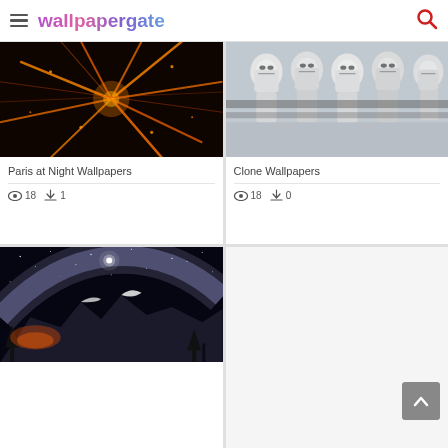wallpapergate
[Figure (photo): Aerial night view of Paris with glowing orange street lights forming radial patterns]
Paris at Night Wallpapers
👁 18   ⬇ 1
[Figure (photo): Group of Clone Troopers in white armor standing together]
Clone Wallpapers
👁 18   ⬇ 0
[Figure (photo): Night mountain landscape with Milky Way galaxy arc and bright star, snow-covered rocks and trees]
[Figure (other): Empty card with back-to-top button (gray chevron up arrow)]